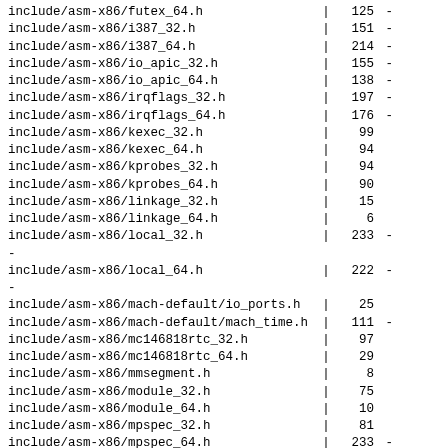include/asm-x86/futex_64.h | 125 -
include/asm-x86/i387_32.h | 151 -
include/asm-x86/i387_64.h | 214 -
include/asm-x86/io_apic_32.h | 155 -
include/asm-x86/io_apic_64.h | 138 -
include/asm-x86/irqflags_32.h | 197 -
include/asm-x86/irqflags_64.h | 176 -
include/asm-x86/kexec_32.h | 99
include/asm-x86/kexec_64.h | 94
include/asm-x86/kprobes_32.h | 94
include/asm-x86/kprobes_64.h | 90
include/asm-x86/linkage_32.h | 15
include/asm-x86/linkage_64.h | 6
include/asm-x86/local_32.h | 233 -
-
include/asm-x86/local_64.h | 222 -
-
include/asm-x86/mach-default/io_ports.h | 25
include/asm-x86/mach-default/mach_time.h | 111 -
include/asm-x86/mc146818rtc_32.h | 97
include/asm-x86/mc146818rtc_64.h | 29
include/asm-x86/mmsegment.h | 8
include/asm-x86/module_32.h | 75
include/asm-x86/module_64.h | 10
include/asm-x86/mpspec_32.h | 81
include/asm-x86/mpspec_64.h | 233 -
-
include/asm-x86/percpu_32.h | 154 -
include/asm-x86/percpu_64.h | 68
include/asm-x86/processor_32.h | 786 -